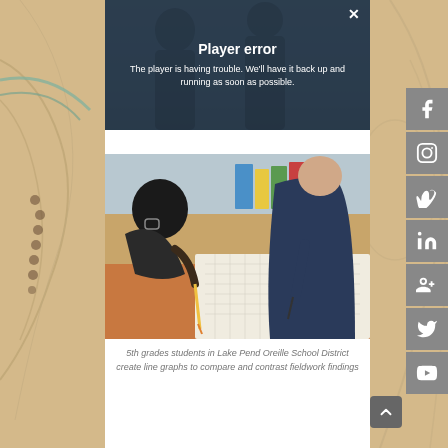[Figure (screenshot): Video player error overlay showing 'Player error' title and message 'The player is having trouble. We'll have it back up and running as soon as possible.' on a dark background with an X close button]
[Figure (photo): Two 5th grade students sitting at a desk writing/drawing line graphs on paper in a classroom setting]
5th grades students in Lake Pend Oreille School District create line graphs to compare and contrast fieldwork findings